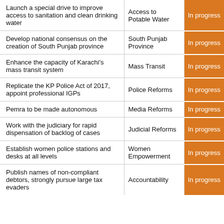| Action | Category | Status |
| --- | --- | --- |
| Launch a special drive to improve access to sanitation and clean drinking water | Access to Potable Water | In progress |
| Develop national consensus on the creation of South Punjab province | South Punjab Province | In progress |
| Enhance the capacity of Karachi's mass transit system | Mass Transit | In progress |
| Replicate the KP Police Act of 2017, appoint professional IGPs | Police Reforms | In progress |
| Pemra to be made autonomous | Media Reforms | In progress |
| Work with the judiciary for rapid dispensation of backlog of cases | Judicial Reforms | In progress |
| Establish women police stations and desks at all levels | Women Empowerment | In progress |
| Publish names of non-compliant debtors, strongly pursue large tax evaders | Accountability | In progress |